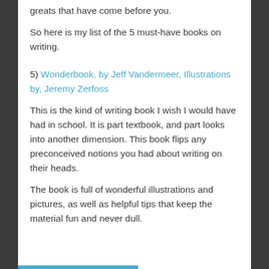greats that have come before you.
So here is my list of the 5 must-have books on writing.
5) Wonderbook, by Jeff Vandermeer, Illustrations by, Jeremy Zerfoss
This is the kind of writing book I wish I would have had in school. It is part textbook, and part looks into another dimension. This book flips any preconceived notions you had about writing on their heads.
The book is full of wonderful illustrations and pictures, as well as helpful tips that keep the material fun and never dull.